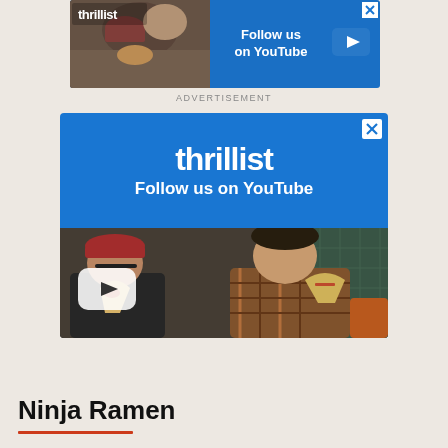[Figure (photo): Top banner advertisement for Thrillist YouTube channel showing two men eating pizza with 'Follow us on YouTube' text on blue background]
ADVERTISEMENT
[Figure (photo): Large Thrillist advertisement. Top half is blue with 'thrillist' logo and 'Follow us on YouTube' text. Bottom half shows two men eating pizza slices, with a YouTube play button overlay.]
Ninja Ramen